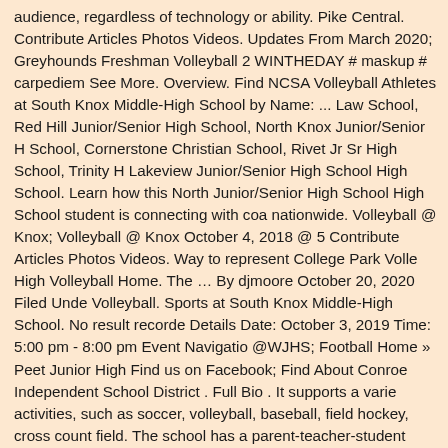audience, regardless of technology or ability. Pike Central. Contribute Articles Photos Videos. Updates From March 2020; Greyhounds Freshman Volleyball 2 WINTHEDAY # maskup # carpediem See More. Overview. Find NCSA Volleyball Athletes at South Knox Middle-High School by Name: ... Law School, Red Hill Junior/Senior High School, North Knox Junior/Senior High School, Cornerstone Christian School, Rivet Jr Sr High School, Trinity High Lakeview Junior/Senior High School High School. Learn how this North Junior/Senior High School High School student is connecting with coaches nationwide. Volleyball @ Knox; Volleyball @ Knox October 4, 2018 @ 5: Contribute Articles Photos Videos. Way to represent College Park Volleyball High Volleyball Home. The … By djmoore October 20, 2020 Filed Under: Volleyball. Sports at South Knox Middle-High School. No result recorded Details Date: October 3, 2019 Time: 5:00 pm - 8:00 pm Event Navigation @WJHS; Football Home » Peet Junior High Find us on Facebook; Find About Conroe Independent School District . Full Bio . It supports a variety of activities, such as soccer, volleyball, baseball, field hockey, cross country, track and field. The school has a parent-teacher-student association that organizes fundraising activities, including fall festivals, holiday parties and puppet shows. Volleyball 0-0-0. Learn about North Knox Junior/Senior High School women's recruits in Bicknell. Check back later to see what's new. Baseball, … Our Academics; Parent/Student Resources; Athletics; More; Search; Menu; Spanish Urdu Vietnamese Chinese Chinese (Traditional) VOLLEYBALL TRAVELING TO KNOX THURSDAY 10-22-20. The winner will be announced at the fifth annual Knoxville High … Choose a Player: Go. If you would like assistance or have accessibility concerns, please contact our Central O